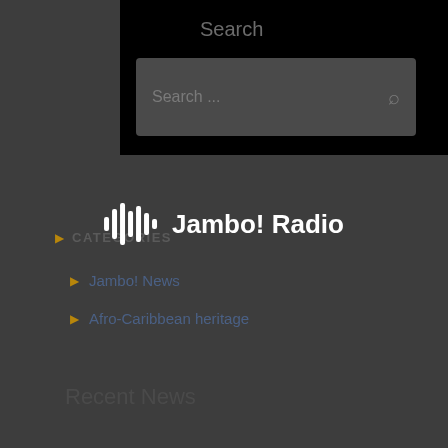[Figure (screenshot): Dark-themed mobile web page screenshot showing a search panel at the top with black background, a search title, a search input box with placeholder text 'Search ...' and a magnifying glass icon. Below is a categories section with items 'Jambo! News' and 'Afro-Caribbean heritage'. A 'Jambo! Radio' logo overlay with waveform icon appears in the center. At the bottom is a 'Recent News' heading.]
Search
Search ...
CATEGORIES
Jambo! News
Afro-Caribbean heritage
Jambo! Radio
Recent News